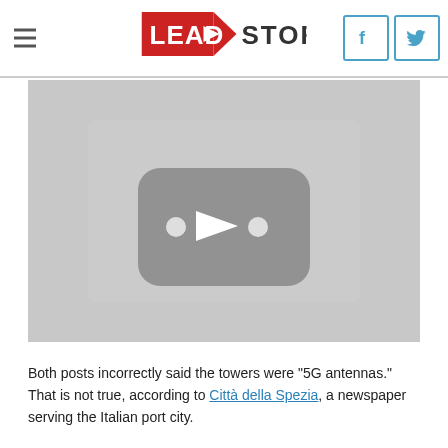Lead Stories
[Figure (screenshot): YouTube-style video thumbnail placeholder with gray background and a dark rounded-rectangle play button icon in the center]
Both posts incorrectly said the towers were "5G antennas." That is not true, according to Città della Spezia, a newspaper serving the Italian port city.